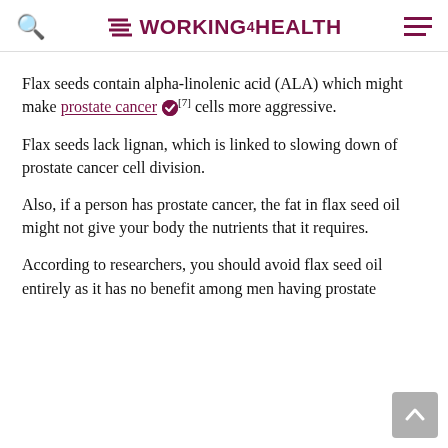WORKING4HEALTH
Flax seeds contain alpha-linolenic acid (ALA) which might make prostate cancer [7] cells more aggressive.
Flax seeds lack lignan, which is linked to slowing down of prostate cancer cell division.
Also, if a person has prostate cancer, the fat in flax seed oil might not give your body the nutrients that it requires.
According to researchers, you should avoid flax seed oil entirely as it has no benefit among men having prostate